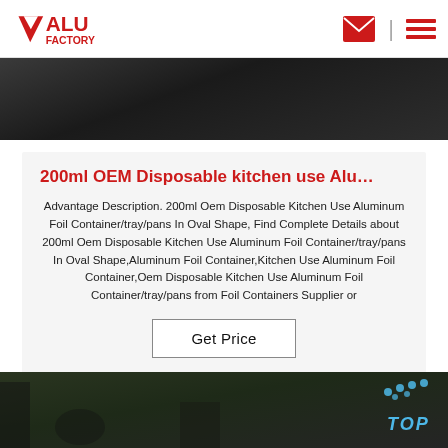ALU FACTORY
[Figure (photo): Dark industrial/factory background image at top of page]
200ml OEM Disposable kitchen use Alu…
Advantage Description. 200ml Oem Disposable Kitchen Use Aluminum Foil Container/tray/pans In Oval Shape, Find Complete Details about 200ml Oem Disposable Kitchen Use Aluminum Foil Container/tray/pans In Oval Shape,Aluminum Foil Container,Kitchen Use Aluminum Foil Container,Oem Disposable Kitchen Use Aluminum Foil Container/tray/pans from Foil Containers Supplier or
Get Price
[Figure (photo): Industrial factory floor interior with equipment and workers, blue TOP badge in bottom right corner]